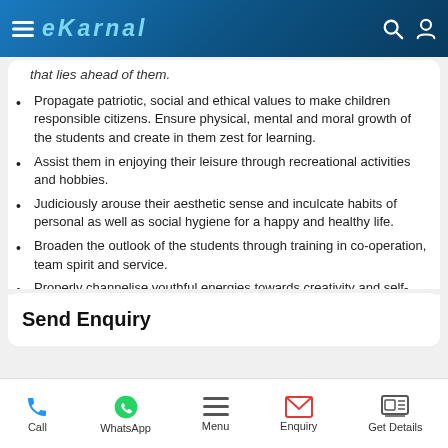eKarnal
that lies ahead of them.
Propagate patriotic, social and ethical values to make children responsible citizens. Ensure physical, mental and moral growth of the students and create in them zest for learning.
Assist them in enjoying their leisure through recreational activities and hobbies.
Judiciously arouse their aesthetic sense and inculcate habits of personal as well as social hygiene for a happy and healthy life.
Broaden the outlook of the students through training in co-operation, team spirit and service.
Properly channelise youthful energies towards creativity and self-actualisation.
Send Enquiry
Call  WhatsApp  Menu  Enquiry  Get Details